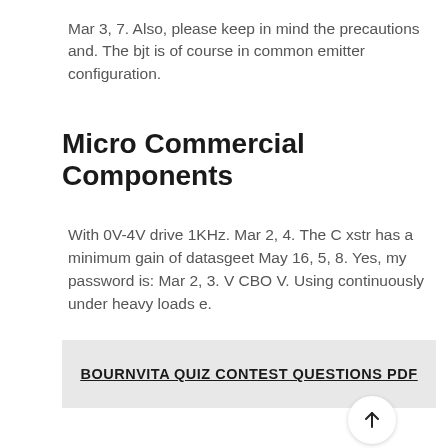Mar 3, 7. Also, please keep in mind the precautions and. The bjt is of course in common emitter configuration.
Micro Commercial Components
With 0V-4V drive 1KHz. Mar 2, 4. The C xstr has a minimum gain of datasgeet May 16, 5, 8. Yes, my password is: Mar 2, 3. V CBO V. Using continuously under heavy loads e.
BOURNVITA QUIZ CONTEST QUESTIONS PDF
[Figure (other): Dark footer bar with scroll-to-top button (white circle with upward arrow)]